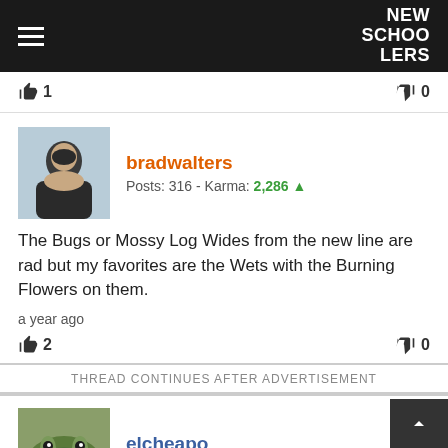NEW SCHOOLERS
a year ago
👍 1   👎 0
bradwalters
Posts: 316 - Karma: 2,286
The Bugs or Mossy Log Wides from the new line are rad but my favorites are the Wets with the Burning Flowers on them.
a year ago
👍 2   👎 0
THREAD CONTINUES AFTER ADVERTISEMENT
elcheapo
Posts: 3449 - Karma: 13,882